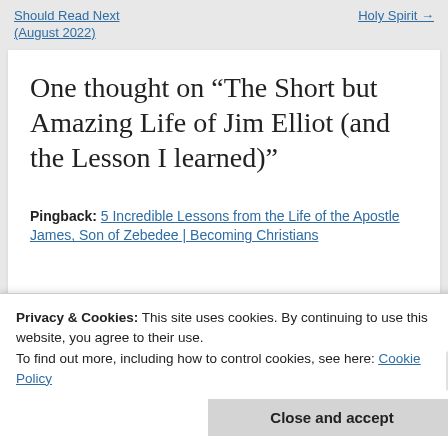Should Read Next (August 2022)    Holy Spirit →
One thought on “The Short but Amazing Life of Jim Elliot (and the Lesson I learned)”
Pingback: 5 Incredible Lessons from the Life of the Apostle James, Son of Zebedee | Becoming Christians
Privacy & Cookies: This site uses cookies. By continuing to use this website, you agree to their use.
To find out more, including how to control cookies, see here: Cookie Policy